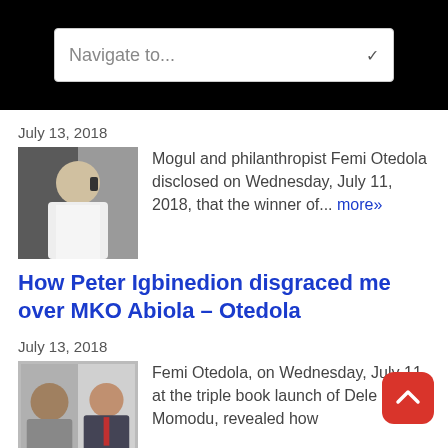[Figure (screenshot): Navigation dropdown with text 'Navigate to...']
July 13, 2018
[Figure (photo): Thumbnail photo of a man on phone in white clothing]
Mogul and philanthropist Femi Otedola disclosed on Wednesday, July 11, 2018, that the winner of... more»
How Peter Igbinedion disgraced me over MKO Abiola – Otedola
July 13, 2018
[Figure (photo): Two thumbnail photos side by side of men]
Femi Otedola, on Wednesday, July 11, at the triple book launch of Dele Momodu, revealed how Peter... more»